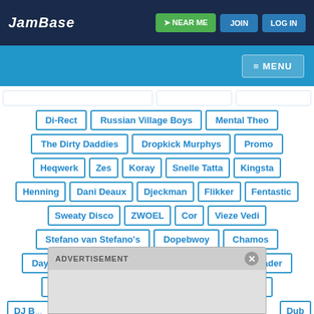JamBase | NEAR ME | JOIN | LOG IN | MENU
[Figure (screenshot): JamBase website navigation header with dark navy background, logo, NEAR ME green button, JOIN and LOG IN buttons, and a blue sub-header with MENU button]
Di-Rect
Russian Village Boys
Mental Theo
The Dirty Daddies
Dropkick Murphys
Promo
Heqwerk
Zes
Koray
Snelle Tatta
Kingsta
Henning
Dani Deaux
Djeckman
Flikker
Fentastic
Sweaty Disco
ZWOEL
Cor
Vieze Vedi
Stefano van Stefano's
Dopebwoy
Chamos
DayDayGay
Cruise Control
Aux Tha Masterfader
De Paloma's
DJ Tinwishtin
The Porders
DJ B... Dub (partially visible)
The ... rino (partially visible)
ADVERTISEMENT